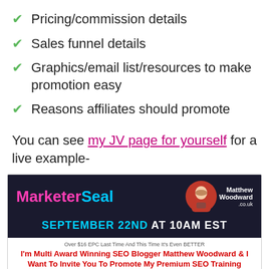Pricing/commission details
Sales funnel details
Graphics/email list/resources to make promotion easy
Reasons affiliates should promote
You can see my JV page for yourself for a live example-
[Figure (screenshot): MarketerSeal JV page banner showing 'SEPTEMBER 22ND AT 10AM EST' with Matthew Woodward branding and headline 'I'm Multi Award Winning SEO Blogger Matthew Woodward & I Want To Invite You To Promote My Premium SEO Training Certification With My Battle']